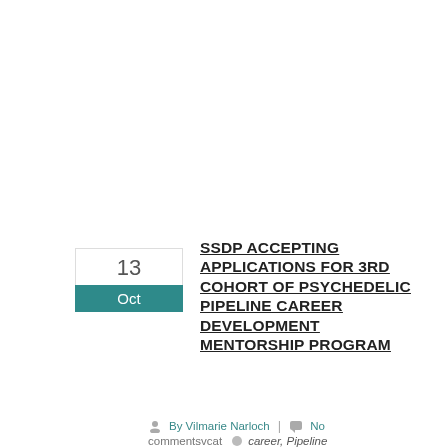SSDP ACCEPTING APPLICATIONS FOR 3RD COHORT OF PSYCHEDELIC PIPELINE CAREER DEVELOPMENT MENTORSHIP PROGRAM
13 Oct
By Vilmarie Narloch | No commentsvcat   career, Pipeline